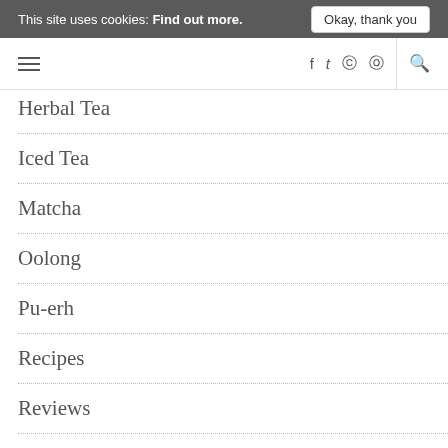This site uses cookies: Find out more. Okay, thank you
Herbal Tea
Iced Tea
Matcha
Oolong
Pu-erh
Recipes
Reviews
Rooibos
Tea Reviews
Tea Storage
Teaphernalia